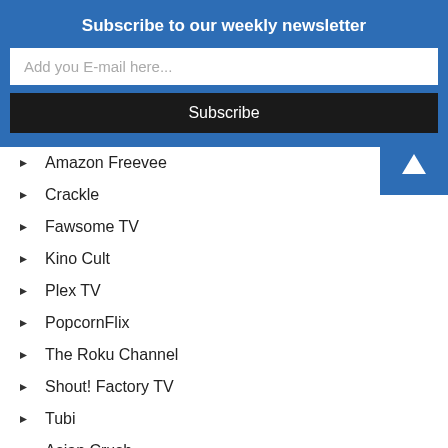Subscribe to our weekly newsletter
Add you E-mail here...
Subscribe
Amazon Freevee
Crackle
Fawsome TV
Kino Cult
Plex TV
PopcornFlix
The Roku Channel
Shout! Factory TV
Tubi
Asian Crush
Cocoro
Docurama
Film Detective